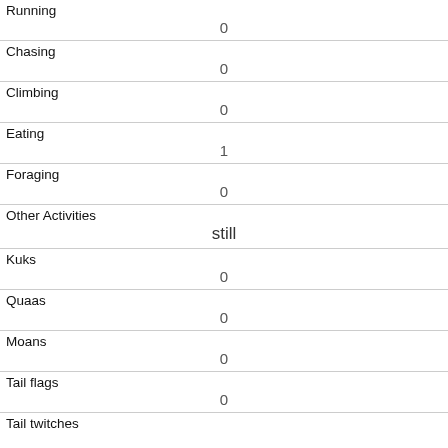| Running | 0 |
| Chasing | 0 |
| Climbing | 0 |
| Eating | 1 |
| Foraging | 0 |
| Other Activities | still |
| Kuks | 0 |
| Quaas | 0 |
| Moans | 0 |
| Tail flags | 0 |
| Tail twitches |  |